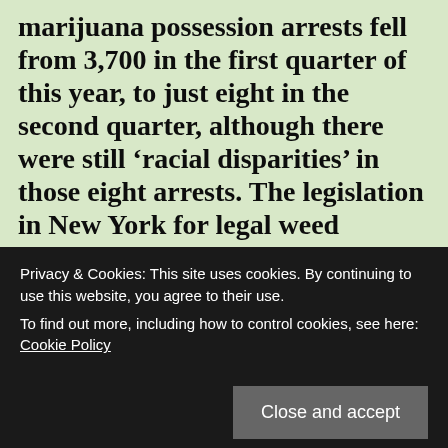marijuana possession arrests fell from 3,700 in the first quarter of this year, to just eight in the second quarter, although there were still ‘racial disparities’ in those eight arrests. The legislation in New York for legal weed expunges the criminal records of anyone previously convicted of actions involving cannabis that are no longer
Privacy & Cookies: This site uses cookies. By continuing to use this website, you agree to their use.
To find out more, including how to control cookies, see here: Cookie Policy
Close and accept
That’s a good question.